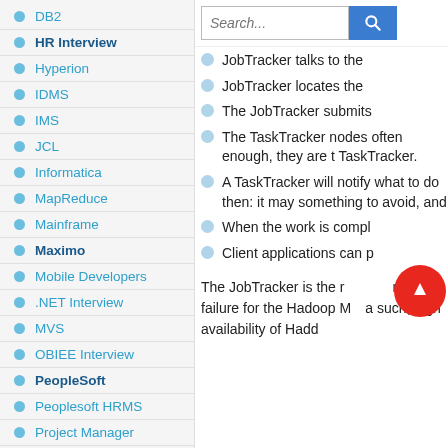DB2
HR Interview
Hyperion
IDMS
IMS
JCL
Informatica
MapReduce
Mainframe
Maximo
Mobile Developers
.NET Interview
MVS
OBIEE Interview
PeopleSoft
Peoplesoft HRMS
Project Manager
JobTracker talks to the
JobTracker locates the
The JobTracker submits
The TaskTracker nodes often enough, they are t TaskTracker.
A TaskTracker will notify what to do then: it may something to avoid, and
When the work is compl
Client applications can p
The JobTracker is the r failure for the Hadoop M such, high availability of Hadd